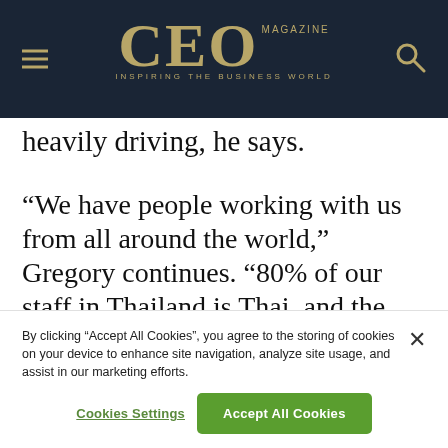CEO MAGAZINE — INSPIRING THE BUSINESS WORLD
heavily driving, he says.
“We have people working with us from all around the world,” Gregory continues. “80% of our staff in Thailand is Thai, and the remaining 20 per cent is made up of people from more than 25 different
By clicking “Accept All Cookies”, you agree to the storing of cookies on your device to enhance site navigation, analyze site usage, and assist in our marketing efforts.
Cookies Settings
Accept All Cookies